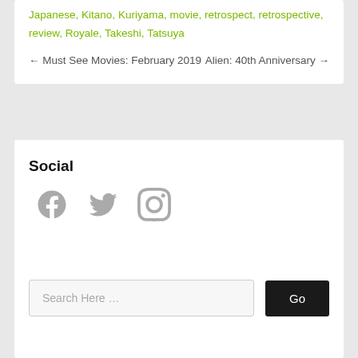Japanese, Kitano, Kuriyama, movie, retrospect, retrospective, review, Royale, Takeshi, Tatsuya
← Must See Movies: February 2019    Alien: 40th Anniversary →
Social
[Figure (illustration): Three social media icons: Facebook, Twitter, Instagram — rendered in grey]
Search Here …
© Reel Steel